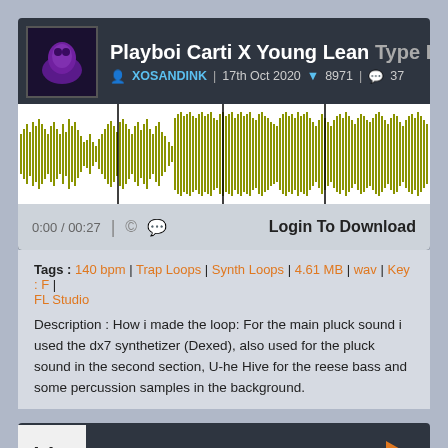Playboi Carti X Young Lean Type Loop
XOSANDINK | 17th Oct 2020 ▼ 8971 | 37
[Figure (other): Audio waveform visualization showing olive/yellow-green waveform on white background with vertical black divider lines]
0:00 / 00:27   © [comment icon]   Login To Download
Tags : 140 bpm | Trap Loops | Synth Loops | 4.61 MB | wav | Key : F | FL Studio
Description : How i made the loop: For the main pluck sound i used the dx7 synthetizer (Dexed), also used for the pluck sound in the second section, U-he Hive for the reese bass and some percussion samples in the background.
Lil Uzi Vert Vibe